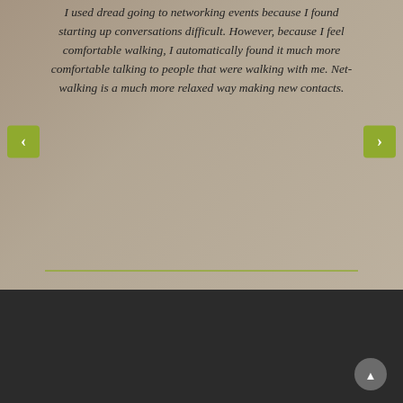I used dread going to networking events because I found starting up conversations difficult. However, because I feel comfortable walking, I automatically found it much more comfortable talking to people that were walking with me. Net-walking is a much more relaxed way making new contacts.
Natural Netwalking
Thames House,